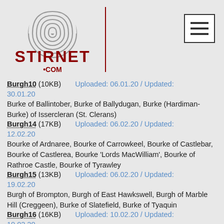STIRNET.COM
Burgh10 (10KB) Uploaded: 06.01.20 / Updated: 30.01.20
Burke of Ballintober, Burke of Ballydugan, Burke (Hardiman-Burke) of Issercleran (St. Clerans)
Burgh14 (17KB) Uploaded: 06.02.20 / Updated: 12.02.20
Bourke of Ardnaree, Bourke of Carrowkeel, Bourke of Castlebar, Bourke of Castlerea, Bourke 'Lords MacWilliam', Bourke of Rathroe Castle, Bourke of Tyrawley
Burgh15 (13KB) Uploaded: 06.02.20 / Updated: 19.02.20
Burgh of Brompton, Burgh of East Hawkswell, Burgh of Marble Hill (Creggeen), Burke of Slatefield, Burke of Tyaquin
Burgh16 (16KB) Uploaded: 10.02.20 / Updated: 10.02.20
Burke of Birr, Burke of Clondagoff Castle, Burke of Elm Hall, Burke of London
Burgh17 (09KB) Uploaded: 11.02.20 / Updated: 11.02.20
Burroughs of Castle Bagshaw, Burroughs of Dumbow